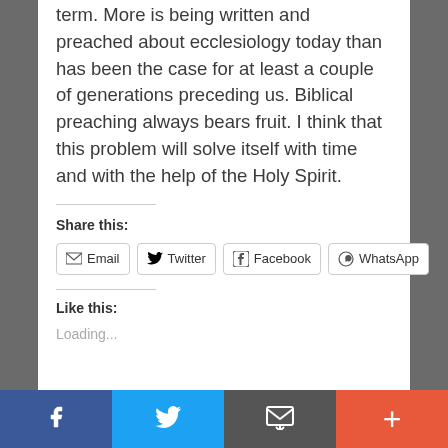term. More is being written and preached about ecclesiology today than has been the case for at least a couple of generations preceding us. Biblical preaching always bears fruit. I think that this problem will solve itself with time and with the help of the Holy Spirit.
Share this:
[Figure (screenshot): Share buttons row: Email, Twitter, Facebook, WhatsApp]
Like this:
Loading...
[Figure (screenshot): Bottom mobile share toolbar with Facebook (blue), Twitter (light blue), Email/message (dark gray), and More/plus (orange-red) buttons]